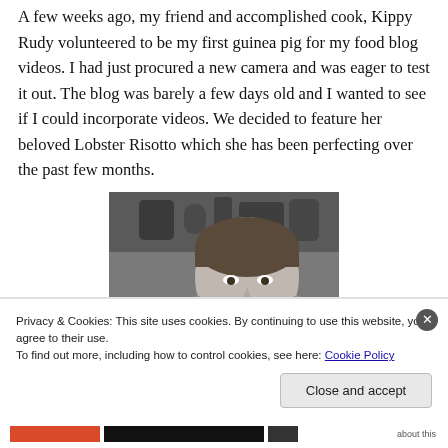A few weeks ago, my friend and accomplished cook, Kippy Rudy volunteered to be my first guinea pig for my food blog videos. I had just procured a new camera and was eager to test it out. The blog was barely a few days old and I wanted to see if I could incorporate videos. We decided to feature her beloved Lobster Risotto which she has been perfecting over the past few months.
[Figure (photo): Black and white portrait photo of a smiling woman, with kitchen items visible in the background.]
Privacy & Cookies: This site uses cookies. By continuing to use this website, you agree to their use.
To find out more, including how to control cookies, see here: Cookie Policy